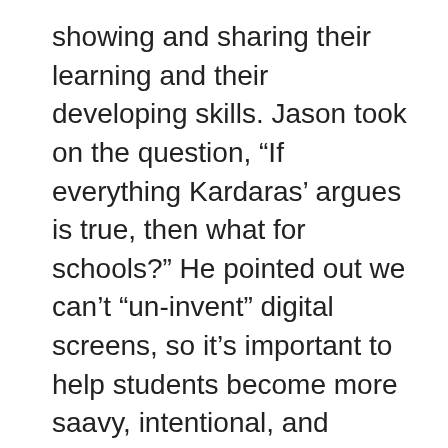showing and sharing their learning and their developing skills. Jason took on the question, “If everything Kardaras’ argues is true, then what for schools?” He pointed out we can’t “un-invent” digital screens, so it’s important to help students become more saavy, intentional, and constructive users of digital screens to support learning and healthy living. Geeks of the week included amazing and affordable headphones from Monoprice (via Jason) and the free coding app for young kids, PBS Scratch Jr (from Wes). Check out past episode shownotes on https://edtechsr.com/links and be sure to follow @edtechSR for updates on Twitter http://twitter.com/edtechsr as well as on Facebook. If you listen to the show, please submit our listener survey using the shortened link